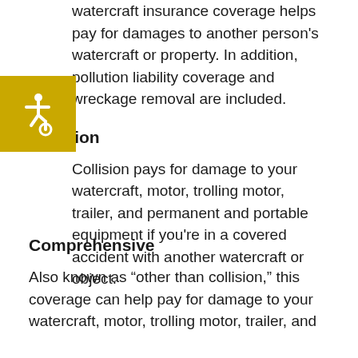watercraft insurance coverage helps pay for damages to another person's watercraft or property. In addition, pollution liability coverage and wreckage removal are included.
[Figure (logo): Accessibility icon — white wheelchair symbol on gold/yellow square background]
Collision
Collision pays for damage to your watercraft, motor, trolling motor, trailer, and permanent and portable equipment if you're in a covered accident with another watercraft or object.
Comprehensive
Also known as “other than collision,” this coverage can help pay for damage to your watercraft, motor, trolling motor, trailer, and